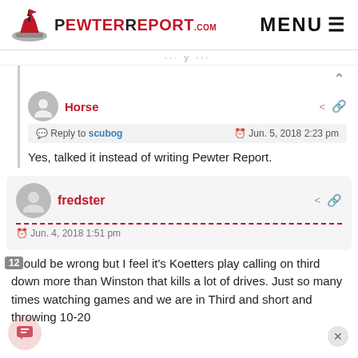PewterReport.com MENU
Reply to scubog Jun. 5, 2018 2:23 pm
Horse
Yes, talked it instead of writing Pewter Report.
fredster
Jun. 4, 2018 1:51 pm
I could be wrong but I feel it's Koetters play calling on third down more than Winston that kills a lot of drives. Just so many times watching games and we are in Third and short and throwing 10-20